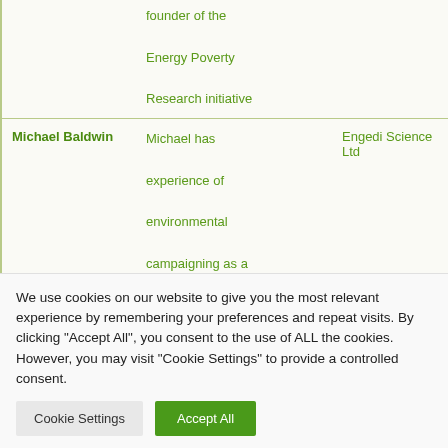| Name | Description | Organisation |
| --- | --- | --- |
|  | founder of the Energy Poverty Research initiative |  |
| Michael Baldwin | Michael has experience of environmental campaigning as a volunteer with a Friends of the Earth | Engedi Science Ltd |
We use cookies on our website to give you the most relevant experience by remembering your preferences and repeat visits. By clicking "Accept All", you consent to the use of ALL the cookies. However, you may visit "Cookie Settings" to provide a controlled consent.